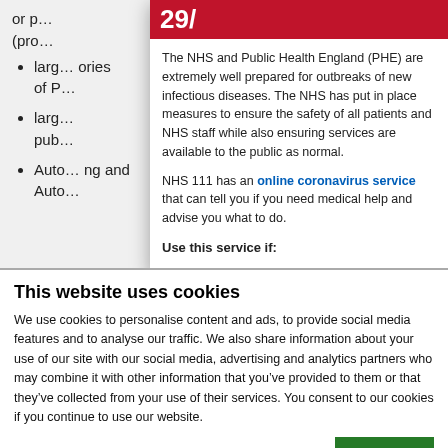or pr (pro
large categories of P
large pub
Auto ng and Auto
[Figure (screenshot): NHS coronavirus popup notice with red header, body text explaining NHS and PHE preparedness, and link to online coronavirus service. Includes 'Use this service if:' heading.]
This website uses cookies
We use cookies to personalise content and ads, to provide social media features and to analyse our traffic. We also share information about your use of our site with our social media, advertising and analytics partners who may combine it with other information that you've provided to them or that they've collected from your use of their services. You consent to our cookies if you continue to use our website.
OK
Necessary  Preferences  Statistics  Marketing  Show details